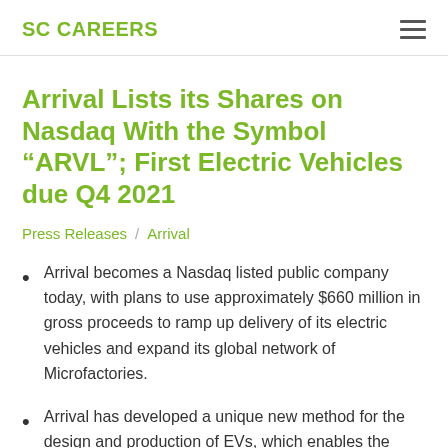SC CAREERS
Arrival Lists its Shares on Nasdaq With the Symbol “ARVL”; First Electric Vehicles due Q4 2021
Press Releases / Arrival
Arrival becomes a Nasdaq listed public company today, with plans to use approximately $660 million in gross proceeds to ramp up delivery of its electric vehicles and expand its global network of Microfactories.
Arrival has developed a unique new method for the design and production of EVs, which enables the